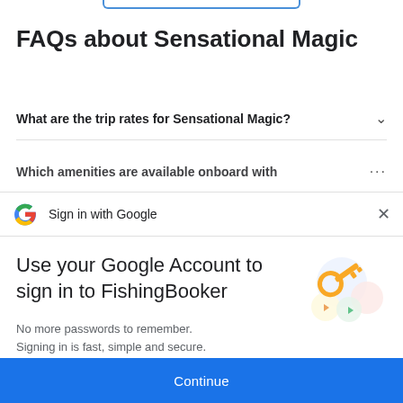FAQs about Sensational Magic
What are the trip rates for Sensational Magic?
Which amenities are available onboard with
Sign in with Google
Use your Google Account to sign in to FishingBooker
No more passwords to remember. Signing in is fast, simple and secure.
[Figure (illustration): Google key illustration with colorful circles and a golden key]
Continue